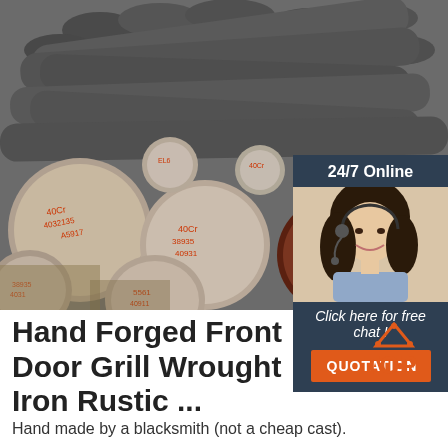[Figure (photo): Stacked round steel bars/rods with red Chinese characters stamped on the ends, viewed from the end in an industrial yard.]
[Figure (photo): Customer service representative woman with headset smiling, shown in a dark blue sidebar panel with '24/7 Online' header and 'Click here for free chat!' text and an orange QUOTATION button.]
Hand Forged Front Door Grill Wrought Iron Rustic ...
[Figure (logo): TOP logo with orange triangle/peak icon above the text 'TOP' in orange]
Hand made by a blacksmith (not a cheap cast).